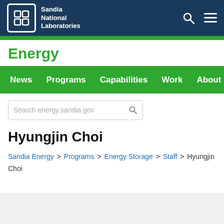Sandia National Laboratories
Energy
News | Programs | Capabilities | Work | About
Search energy.sandia.gov
Hyungjin Choi
Sandia Energy > Programs > Energy Storage > Staff > Hyungjin Choi